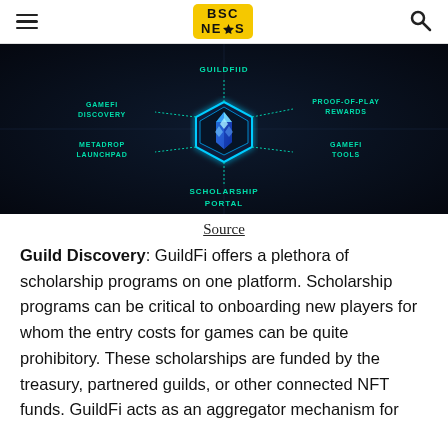BSC NEWS
[Figure (infographic): GuildFi ecosystem diagram showing a glowing blue crystal hexagon in the center, surrounded by labels: GUILDFIID (top), GAMEFI DISCOVERY (left), PROOF-OF-PLAY REWARDS (right), METADROP LAUNCHPAD (bottom-left), GAMEFI TOOLS (bottom-right), SCHOLARSHIP PORTAL (bottom). Dark background.]
Source
Guild Discovery: GuildFi offers a plethora of scholarship programs on one platform. Scholarship programs can be critical to onboarding new players for whom the entry costs for games can be quite prohibitory. These scholarships are funded by the treasury, partnered guilds, or other connected NFT funds. GuildFi acts as an aggregator mechanism for